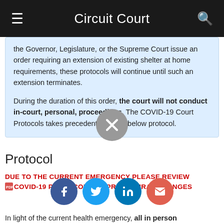Circuit Court
the Governor, Legislature, or the Supreme Court issue an order requiring an extension of existing shelter at home requirements, these protocols will continue until such an extension terminates.

During the duration of this order, the court will not conduct in-court, personal, proceedings. The COVID-19 Court Protocols takes precedent over the below protocol.
Protocol
DUE TO THE CURRENT EMERGENCY PLEASE REVIEW COVID-19 PROTOCOL FOR PROCEDURAL CHANGES
In light of the current health emergency, all in person